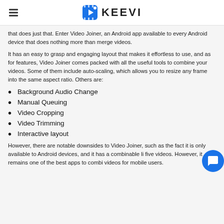KEEVI
that does just that. Enter Video Joiner, an Android app available to every Android device that does nothing more than merge videos.
It has an easy to grasp and engaging layout that makes it effortless to use, and as for features, Video Joiner comes packed with all the useful tools to combine your videos. Some of them include auto-scaling, which allows you to resize any frame into the same aspect ratio. Others are:
Background Audio Change
Manual Queuing
Video Cropping
Video Trimming
Interactive layout
However, there are notable downsides to Video Joiner, such as the fact it is only available to Android devices, and it has a combinable li... five videos. However, it remains one of the best apps to combi... videos for mobile users.